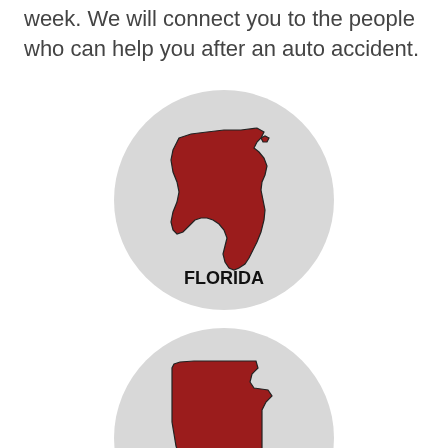week. We will connect you to the people who can help you after an auto accident.
[Figure (map): Red silhouette of the state of Florida centered on a light gray circle, with the label FLORIDA in bold black text below the shape.]
[Figure (map): Red silhouette of the state of Minnesota centered on a light gray circle, partially visible at the bottom of the page.]